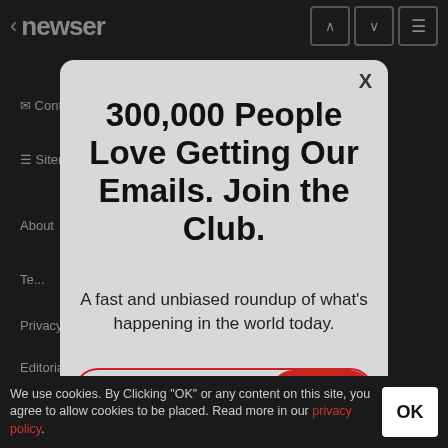< newser
[Figure (screenshot): Newser website navigation bar with back arrow, logo, and navigation icons (up arrow, down arrow, hamburger menu)]
300,000 People Love Getting Our Emails. Join the Club.
A fast and unbiased roundup of what's happening in the world today.
your email address  SIGN UP
© 2022 Newser, LLC. All rights reserved.
We use cookies. By Clicking "OK" or any content on this site, you agree to allow cookies to be placed. Read more in our privacy policy.